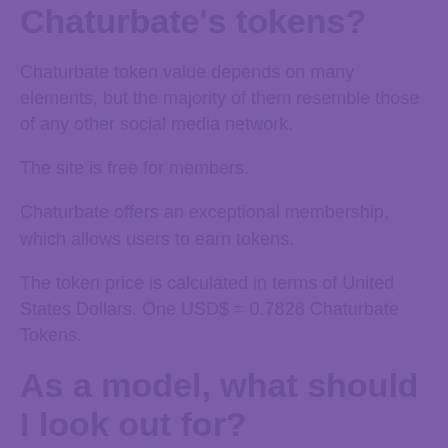Chaturbate's tokens?
Chaturbate token value depends on many elements, but the majority of them resemble those of any other social media network.
The site is free for members.
Chaturbate offers an exceptional membership, which allows users to earn tokens.
The token price is calculated in terms of United States Dollars. One USD$ = 0.7828 Chaturbate Tokens.
As a model, what should I look out for?
How can I make certain I earn money what I'm worth?